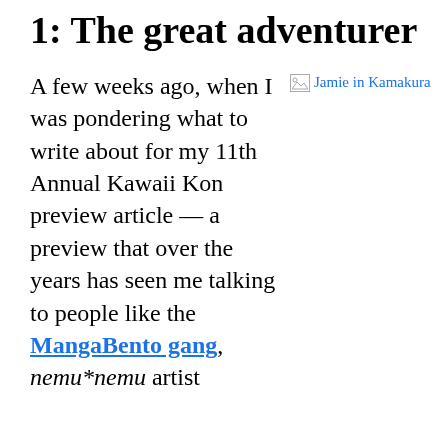1: The great adventurer
A few weeks ago, when I was pondering what to write about for my 11th Annual Kawaii Kon preview article — a preview that over the years has seen me talking to people like the MangaBento gang, nemu*nemu artist
[Figure (photo): Broken image placeholder labeled 'Jamie in Kamakura']